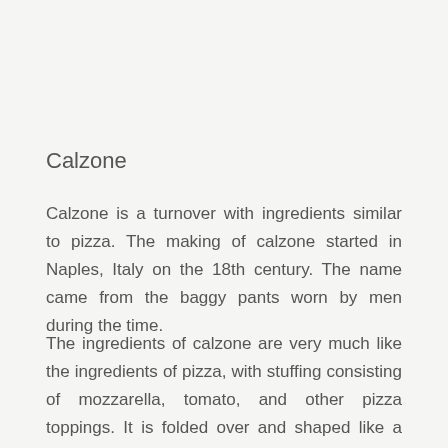Calzone
Calzone is a turnover with ingredients similar to pizza. The making of calzone started in Naples, Italy on the 18th century. The name came from the baggy pants worn by men during the time.
The ingredients of calzone are very much like the ingredients of pizza, with stuffing consisting of mozzarella, tomato, and other pizza toppings. It is folded over and shaped like a crescent moon before baking or frying.